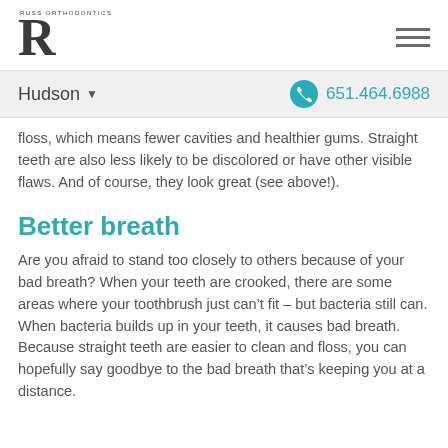RUSS ORTHODONTICS
Hudson
651.464.6988
floss, which means fewer cavities and healthier gums. Straight teeth are also less likely to be discolored or have other visible flaws. And of course, they look great (see above!).
Better breath
Are you afraid to stand too closely to others because of your bad breath? When your teeth are crooked, there are some areas where your toothbrush just can’t fit – but bacteria still can. When bacteria builds up in your teeth, it causes bad breath. Because straight teeth are easier to clean and floss, you can hopefully say goodbye to the bad breath that’s keeping you at a distance.